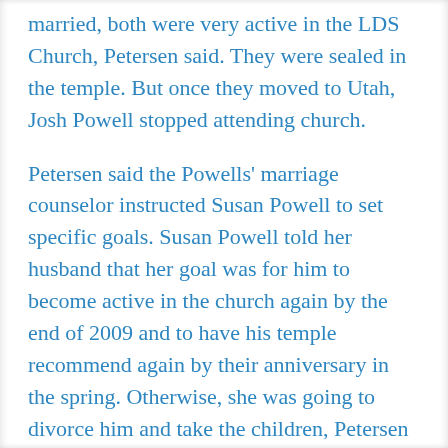married, both were very active in the LDS Church, Petersen said. They were sealed in the temple. But once they moved to Utah, Josh Powell stopped attending church.
Petersen said the Powells' marriage counselor instructed Susan Powell to set specific goals. Susan Powell told her husband that her goal was for him to become active in the church again by the end of 2009 and to have his temple recommend again by their anniversary in the spring. Otherwise, she was going to divorce him and take the children, Petersen said.